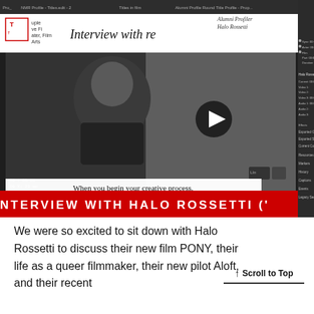[Figure (screenshot): Screenshot of a video editing application showing an interview with Halo Rossetti. The main editing interface includes a preview window with a person being interviewed, a play button overlay, a caption reading 'When you begin your creative process, where do you pull inspiration from?', a timeline strip below, and a red banner at the bottom reading 'NTERVIEW WITH HALO ROSSETTI ('. The right panel shows technical editing controls. The top shows Temple University branding with 'Interview with re...' and 'Alumni Profiler Halo Rossetti' text.]
We were so excited to sit down with Halo Rossetti to discuss their new film PONY, their life as a queer filmmaker, their new pilot Aloft, and their recent
↑ Scroll to Top